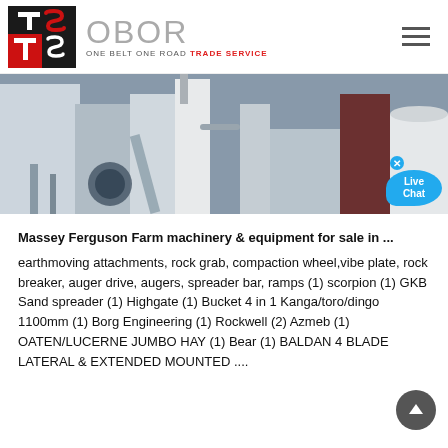[Figure (logo): OBOR Trade Service logo with TS monogram in red and black square, and OBOR text with tagline ONE BELT ONE ROAD TRADE SERVICE]
[Figure (photo): Industrial machinery/grain processing equipment at a facility, with Live Chat bubble in the bottom right corner]
Massey Ferguson Farm machinery & equipment for sale in ...
earthmoving attachments, rock grab, compaction wheel,vibe plate, rock breaker, auger drive, augers, spreader bar, ramps (1) scorpion (1) GKB Sand spreader (1) Highgate (1) Bucket 4 in 1 Kanga/toro/dingo 1100mm (1) Borg Engineering (1) Rockwell (2) Azmeb (1) OATEN/LUCERNE JUMBO HAY (1) Bear (1) BALDAN 4 BLADE LATERAL & EXTENDED MOUNTED ....